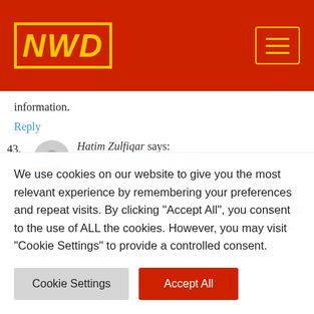[Figure (logo): NWD logo in yellow italic bold text inside a yellow border box, on a red header background. A hamburger menu button with yellow border is on the right.]
information.
Reply
43. Hatim Zulfiqar says: October 26, 2020 at 5:07 pm
I am unable to boost any of my posts on my page. On click the boost unavailable button i receive following error "your acgount was recently flagged because of unusual activity.. i donotknow how to resolve this issue And how to confirm my account
We use cookies on our website to give you the most relevant experience by remembering your preferences and repeat visits. By clicking "Accept All", you consent to the use of ALL the cookies. However, you may visit "Cookie Settings" to provide a controlled consent.